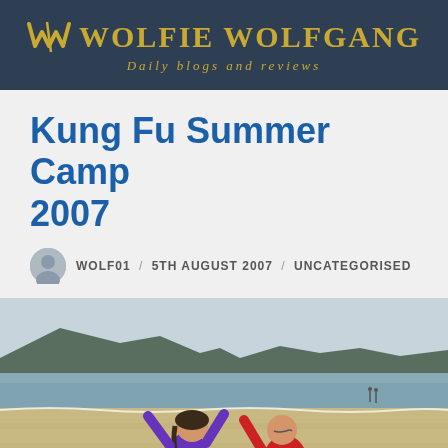Wolfie Wolfgang — Daily blogs and reviews
Kung Fu Summer Camp 2007
WOLF01 / 5TH AUGUST 2007 / UNCATEGORISED
[Figure (photo): Two people practising kung fu on a beach. One person in a purple jacket with arms raised, another in a red hoodie facing them. Sandy beach with ocean and headland in the background.]